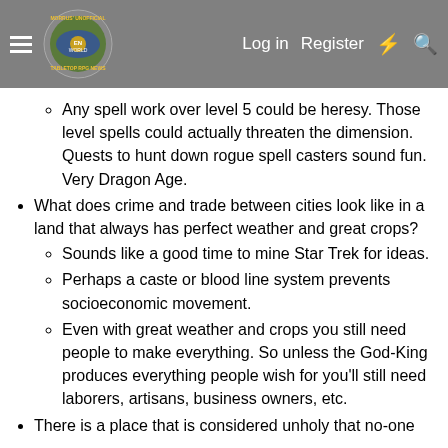Morrus' Unofficial Tabletop RPG News — Log in | Register
Any spell work over level 5 could be heresy. Those level spells could actually threaten the dimension. Quests to hunt down rogue spell casters sound fun. Very Dragon Age.
What does crime and trade between cities look like in a land that always has perfect weather and great crops?
Sounds like a good time to mine Star Trek for ideas.
Perhaps a caste or blood line system prevents socioeconomic movement.
Even with great weather and crops you still need people to make everything. So unless the God-King produces everything people wish for you'll still need laborers, artisans, business owners, etc.
There is a place that is considered unholy that no-one